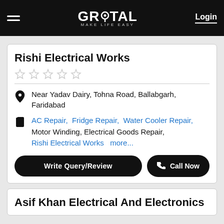GROTAL MAKE LIFE EASY | Login
Rishi Electrical Works
Near Yadav Dairy, Tohna Road, Ballabgarh, Faridabad
AC Repair, Fridge Repair, Water Cooler Repair, Motor Winding, Electrical Goods Repair, Rishi Electrical Works more...
Write Query/Review
Call Now
Asif Khan Electrical And Electronics